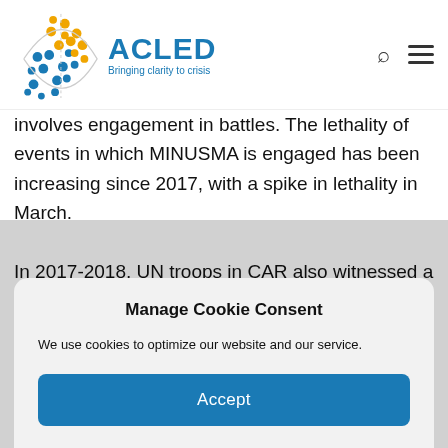[Figure (logo): ACLED logo with globe and text 'ACLED Bringing clarity to crisis']
involves engagement in battles. The lethality of events in which MINUSMA is engaged has been increasing since 2017, with a spike in lethality in March.
In 2017-2018, UN troops in CAR also witnessed a high number of attacks in the prefectures of Haut-Mbomou, Ouaka, Basse-Kotto, Haute-Kotto, and in Bangui, notably in the KM5 neighborhood. More
Manage Cookie Consent
We use cookies to optimize our website and our service.
Accept